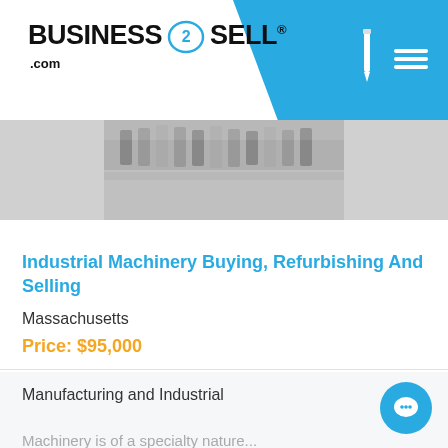BUSINESS2SELL.com
[Figure (photo): Close-up photo of industrial metal gear teeth/machinery parts, black and white/silver tones]
Industrial Machinery Buying, Refurbishing And Selling
Massachusetts
Price: $95,000
Manufacturing and Industrial
Machinery is of a specialty nature...